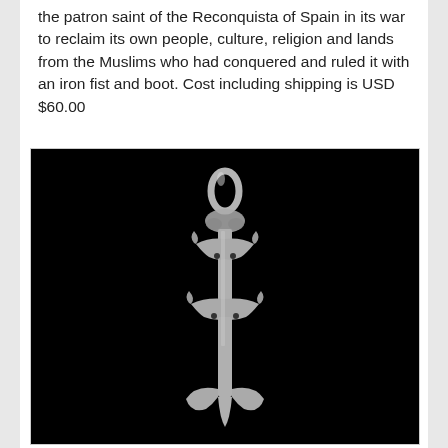the patron saint of the Reconquista of Spain in its war to reclaim its own people, culture, religion and lands from the Muslims who had conquered and ruled it with an iron fist and boot. Cost including shipping is USD $60.00
[Figure (photo): Close-up photograph of a silver pendant or charm on a black background. The pendant appears to be a stylized cross or religious symbol with decorative fleur-de-lis-like arms and a bail/loop at the top for a chain.]